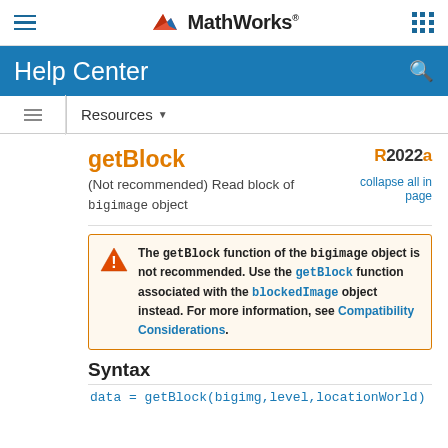MathWorks Help Center
getBlock
(Not recommended) Read block of bigimage object
R2022a
collapse all in page
The getBlock function of the bigimage object is not recommended. Use the getBlock function associated with the blockedImage object instead. For more information, see Compatibility Considerations.
Syntax
data = getBlock(bigimg,level,locationWorld)